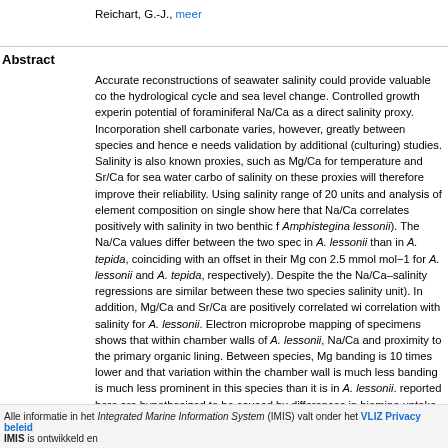Reichart, G.-J., meer
Abstract
Accurate reconstructions of seawater salinity could provide valuable co the hydrological cycle and sea level change. Controlled growth experin potential of foraminiferal Na/Ca as a direct salinity proxy. Incorporation shell carbonate varies, however, greatly between species and hence e needs validation by additional (culturing) studies. Salinity is also known proxies, such as Mg/Ca for temperature and Sr/Ca for sea water carbo of salinity on these proxies will therefore improve their reliability. Using salinity range of 20 units and analysis of element composition on single show here that Na/Ca correlates positively with salinity in two benthic f Amphistegina lessonii). The Na/Ca values differ between the two spec in A. lessonii than in A. tepida, coinciding with an offset in their Mg con 2.5 mmol mol−1 for A. lessonii and A. tepida, respectively). Despite the the Na/Ca–salinity regressions are similar between these two species salinity unit). In addition, Mg/Ca and Sr/Ca are positively correlated wi correlation with salinity for A. lessonii. Electron microprobe mapping of specimens shows that within chamber walls of A. lessonii, Na/Ca and proximity to the primary organic lining. Between species, Mg banding is 10 times lower and that variation within the chamber wall is much less banding is much less prominent in this species than it is in A. lessonii. reported here are hypothesized to be caused by differences in biomine uptake.
Alle informatie in het Integrated Marine Information System (IMIS) valt onder het VLIZ Privacy beleid IMIS is ontwikkeld en